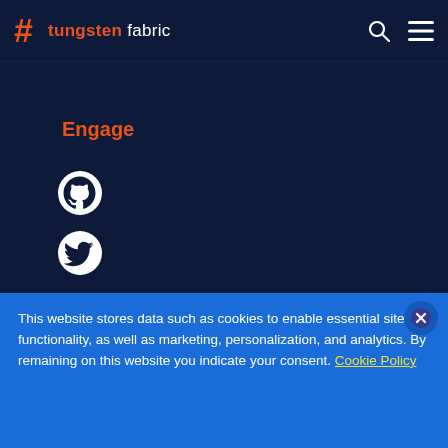tungsten fabric
Engage
[Figure (logo): GitHub icon - white circular logo on dark navy background]
[Figure (logo): Twitter bird icon - white on dark navy background]
[Figure (logo): LinkedIn icon - white square with 'in' on dark navy background]
[Figure (logo): Tungsten Fabric hash icon - white on dark navy background]
This website stores data such as cookies to enable essential site functionality, as well as marketing, personalization, and analytics. By remaining on this website you indicate your consent. Cookie Policy